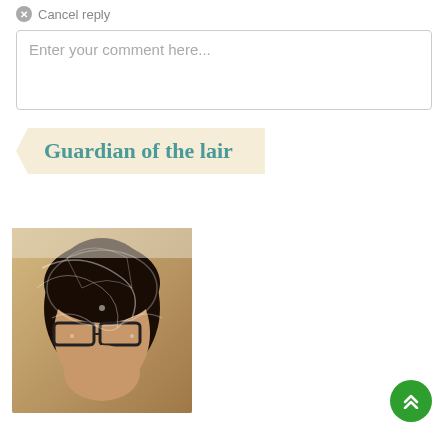Cancel reply
Enter your comment here...
Guardian of the lair
[Figure (photo): Portrait photo of a woman with dark curly hair and glasses, with glowing white artistic overlay effects on the image]
[Figure (other): Green circular scroll-to-top button with double up-arrow chevron icon]